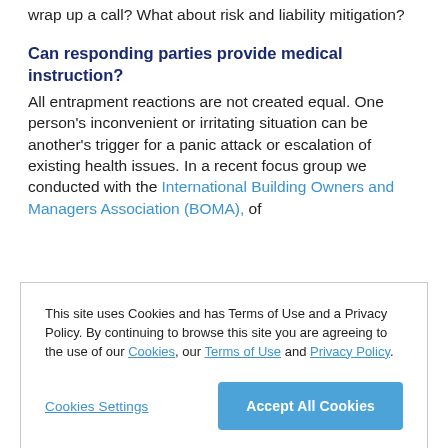wrap up a call? What about risk and liability mitigation?
Can responding parties provide medical instruction?
All entrapment reactions are not created equal. One person's inconvenient or irritating situation can be another's trigger for a panic attack or escalation of existing health issues. In a recent focus group we conducted with the International Building Owners and Managers Association (BOMA), of
This site uses Cookies and has Terms of Use and a Privacy Policy. By continuing to browse this site you are agreeing to the use of our Cookies, our Terms of Use and Privacy Policy.
Cookies Settings
Accept All Cookies
one is thinking that when they're stuck in